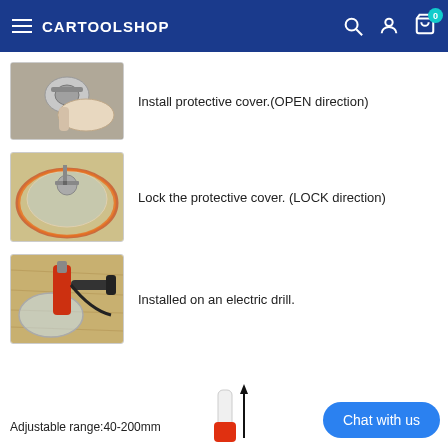CARTOOLSHOP
[Figure (photo): Hand installing a protective cover onto a metal fitting, showing the OPEN direction]
Install protective cover.(OPEN direction)
[Figure (photo): Protective cover locked onto a circular clear disc with red trim on a wooden surface, showing LOCK direction]
Lock the protective cover. (LOCK direction)
[Figure (photo): Tool with protective cover installed on an electric drill, mounted on a wooden board]
Installed on an electric drill.
Adjustable range:40-200mm
[Figure (photo): Bottom portion of tool component showing adjustable range indicator with upward arrow]
Chat with us